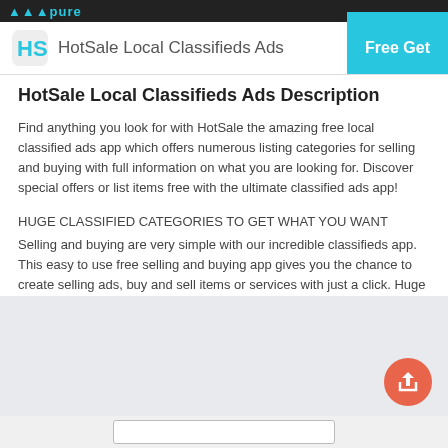apppu
HotSale Local Classifieds Ads | Free Get
HotSale Local Classifieds Ads Description
Find anything you look for with HotSale the amazing free local classified ads app which offers numerous listing categories for selling and buying with full information on what you are looking for. Discover special offers or list items free with the ultimate classified ads app!
HUGE CLASSIFIED CATEGORIES TO GET WHAT YOU WANT
Selling and buying are very simple with our incredible classifieds app. This easy to use free selling and buying app gives you the chance to create selling ads, buy and sell items or services with just a click. Huge number of free local classified categories are offered for you to browse so you can easily find
Show More